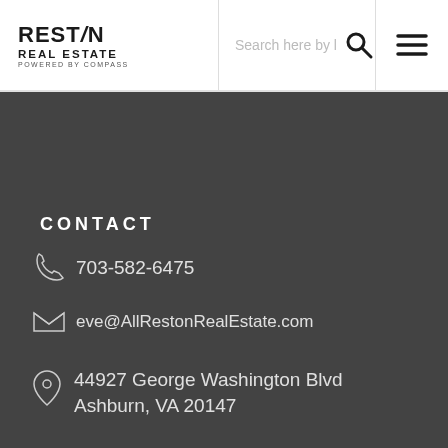[Figure (logo): Reston Real Estate powered by Compass logo in top-left of header]
[Figure (screenshot): Search bar with magnifying glass icon and hamburger menu in header]
CONTACT
703-582-6475
eve@AllRestonRealEstate.com
44927 George Washington Blvd Ashburn, VA 20147